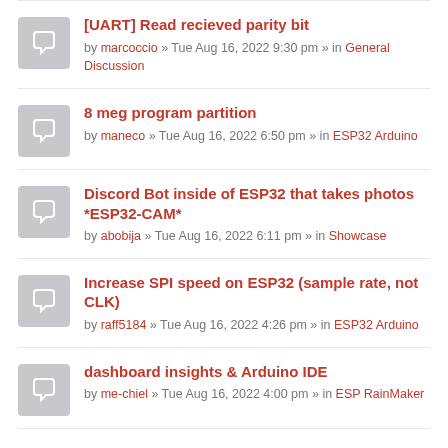[UART] Read recieved parity bit — by marcoccio » Tue Aug 16, 2022 9:30 pm » in General Discussion
8 meg program partition — by maneco » Tue Aug 16, 2022 6:50 pm » in ESP32 Arduino
Discord Bot inside of ESP32 that takes photos *ESP32-CAM* — by abobija » Tue Aug 16, 2022 6:11 pm » in Showcase
Increase SPI speed on ESP32 (sample rate, not CLK) — by raff5184 » Tue Aug 16, 2022 4:26 pm » in ESP32 Arduino
dashboard insights & Arduino IDE — by me-chiel » Tue Aug 16, 2022 4:00 pm » in ESP RainMaker